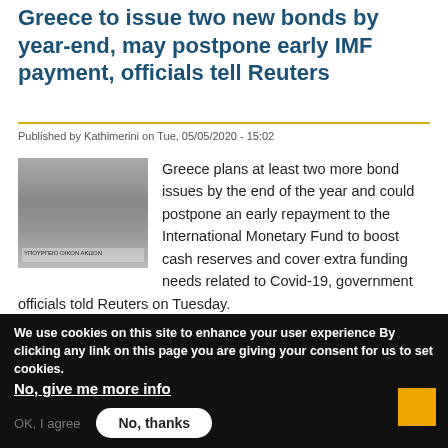Greece to issue two new bonds by year-end, may postpone early IMF payment, officials tell Reuters
Published by Kathimerini on Tue, 05/05/2020 - 15:02
[Figure (photo): Black and white photo of a building exterior, likely a government or financial institution building in Greece.]
Greece plans at least two more bond issues by the end of the year and could postpone an early repayment to the International Monetary Fund to boost cash reserves and cover extra funding needs related to Covid-19, government officials told Reuters on Tuesday.
Read more   Log in to post comments
« first  ‹ previous  Privacy settings  5  6  7  8  9  10
We use cookies on this site to enhance your user experience By clicking any link on this page you are giving your consent for us to set cookies. No, give me more info
OK, I agree   No, thanks